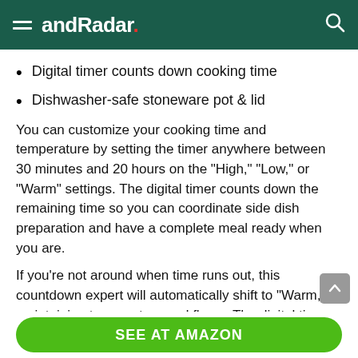andRadar.
Digital timer counts down cooking time
Dishwasher-safe stoneware pot & lid
You can customize your cooking time and temperature by setting the timer anywhere between 30 minutes and 20 hours on the “High,” “Low,” or “Warm” settings. The digital timer counts down the remaining time so you can coordinate side dish preparation and have a complete meal ready when you are.
If you’re not around when time runs out, this countdown expert will automatically shift to “Warm,” maintaining temperature and flavor. The digital timer will count up the